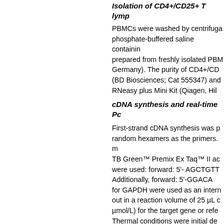Isolation of CD4+/CD25+ T lymp...
PBMCs were washed by centrifuga... phosphate-buffered saline containin... prepared from freshly isolated PBM... Germany). The purity of CD4+/CD... (BD Biosciences; Cat 555347) and... RNeasy plus Mini Kit (Qiagen, Hil...
cDNA synthesis and real-time PC...
First-strand cDNA synthesis was p... random hexamers as the primers. m... TB Green™ Premix Ex Taq™ II ac... were used: forward: 5'- AGCTGTT... Additionally, forward: 5'-GGACA... for GAPDH were used as an intern... out in a reaction volume of 25 µL c... µmol/L) for the target gene or refe... Thermal conditions were initial de... specific annealing and an extensio... after each run to confirm the prese... detection system (Applied Biosyste... formula ΔCt = [Ct (target gene)] [C... calculated to reflect the target gen...